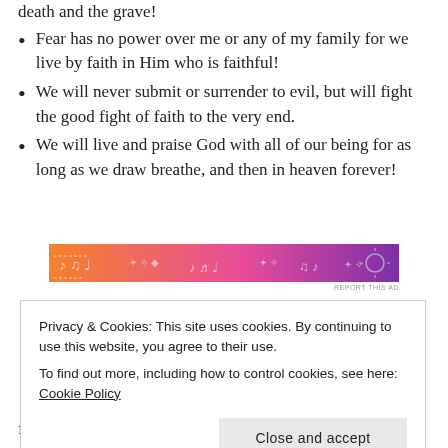Fear has no power over me or any of my family for we live by faith in Him who is faithful!
We will never submit or surrender to evil, but will fight the good fight of faith to the very end.
We will live and praise God with all of our being for as long as we draw breathe, and then in heaven forever!
[Figure (illustration): A decorative horizontal banner ad with an orange-to-purple gradient background featuring musical notes and festive doodles]
Privacy & Cookies: This site uses cookies. By continuing to use this website, you agree to their use. To find out more, including how to control cookies, see here: Cookie Policy
fight. It will be a fight like no other ever imagined.